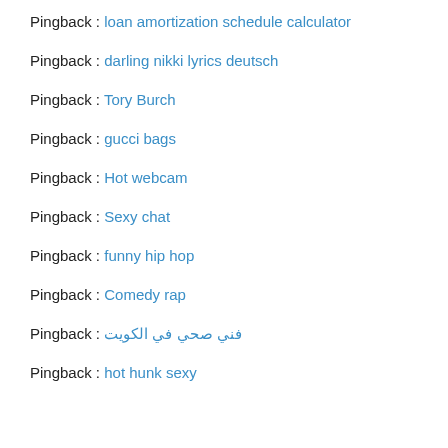Pingback : loan amortization schedule calculator
Pingback : darling nikki lyrics deutsch
Pingback : Tory Burch
Pingback : gucci bags
Pingback : Hot webcam
Pingback : Sexy chat
Pingback : funny hip hop
Pingback : Comedy rap
Pingback : فني صحي في الكويت
Pingback : hot hunk sexy